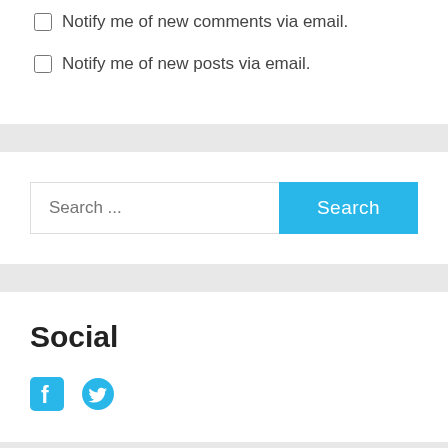Notify me of new comments via email.
Notify me of new posts via email.
Search ...
Search
Social
[Figure (illustration): Facebook and Twitter social media icons in cyan/blue color]